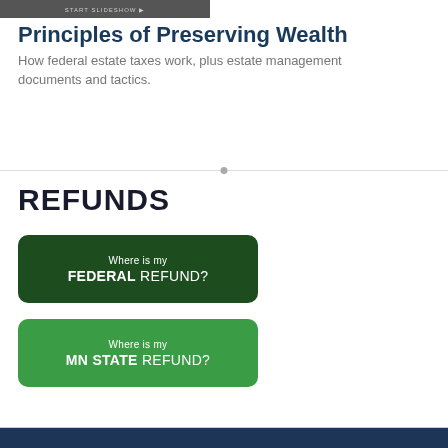[Figure (screenshot): Dark slideshow image thumbnail with START SLIDESHOW button text]
Principles of Preserving Wealth
How federal estate taxes work, plus estate management documents and tactics.
REFUNDS
[Figure (infographic): Dark green rounded button reading 'Where is my FEDERAL REFUND?']
[Figure (infographic): Medium green rounded button reading 'Where is my MN STATE REFUND?']